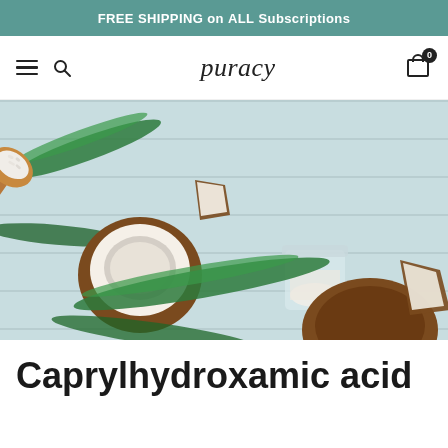FREE SHIPPING on ALL Subscriptions
[Figure (logo): Puracy website navigation bar with hamburger menu, search icon, puracy logo, and shopping cart icon]
[Figure (photo): Overhead flat-lay photo of coconut halves, coconut flakes on a wooden spoon, palm leaves, and a small glass jar of coconut oil on a light blue wooden surface]
Caprylhydroxamic acid